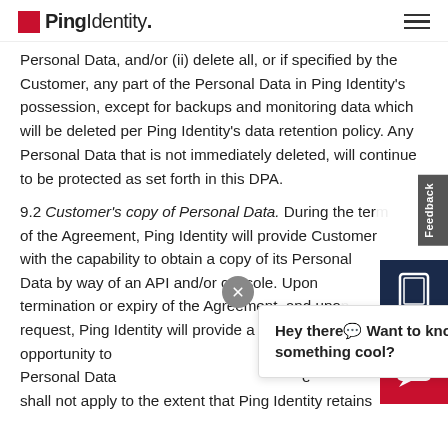Ping Identity
Personal Data, and/or (ii) delete all, or if specified by the Customer, any part of the Personal Data in Ping Identity's possession, except for backups and monitoring data which will be deleted per Ping Identity's data retention policy. Any Personal Data that is not immediately deleted, will continue to be protected as set forth in this DPA.
9.2 Customer's copy of Personal Data. During the term of the Agreement, Ping Identity will provide Customer with the capability to obtain a copy of its Personal Data by way of an API and/or console. Upon termination or expiry of the Agreement, and upon request, Ping Identity will provide a reasonable opportunity to... Personal Data... shall not apply to the extent that Ping Identity retains